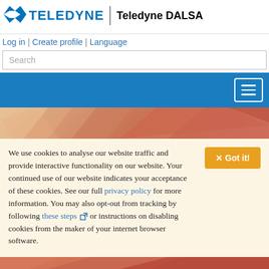[Figure (logo): Teledyne | Teledyne DALSA logo with blue bird/arrow icon and text]
Log in | Create profile | Language
Search
[Figure (screenshot): Blue navigation bar with hamburger menu button (three white lines in white border box)]
[Figure (illustration): Decorative polygon background in orange/salmon tones]
We use cookies to analyse our website traffic and provide interactive functionality on our website. Your continued use of our website indicates your acceptance of these cookies. See our full privacy policy for more information. You may also opt-out from tracking by following these steps or instructions on disabling cookies from the maker of your internet browser software.
[Figure (screenshot): Got it! button in orange/amber color]